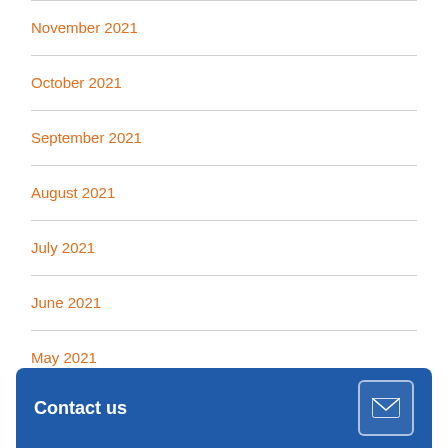November 2021
October 2021
September 2021
August 2021
July 2021
June 2021
May 2021
April 2021
Contact us
February 2021